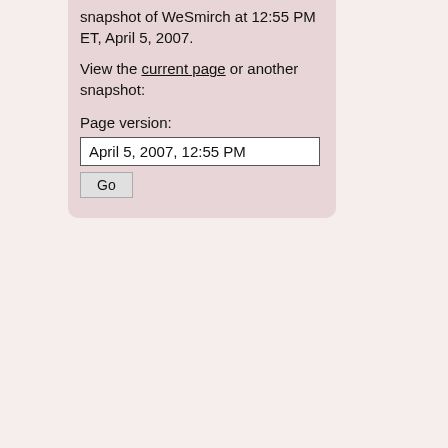snapshot of WeSmirch at 12:55 PM ET, April 5, 2007.
View the current page or another snapshot:
Page version:
April 5, 2007, 12:55 PM
SEE ALSO:
WeSmirch: site main
WeSmirch River: reverse chronological WeSmirch
WeSmirch Mobile: for phones
WeSmirch Leaderboard: